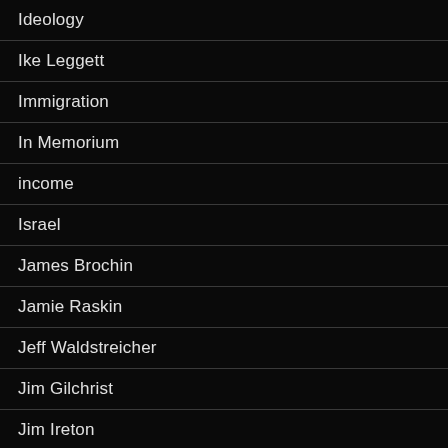Ideology
Ike Leggett
Immigration
In Memorium
income
Israel
James Brochin
Jamie Raskin
Jeff Waldstreicher
Jim Gilchrist
Jim Ireton
Joan Carter Conway
Joe Vallario